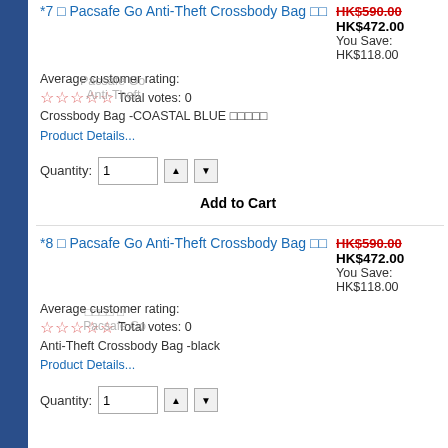*7 □ Pacsafe Go Anti-Theft Crossbody Bag □□  HK$590.00 HK$472.00 You Save: HK$118.00
Average customer rating: ☆☆☆☆☆ Total votes: 0 Pacsafe Go Anti-Theft Crossbody Bag -COASTAL BLUE □□□□□
Product Details...
Quantity: 1
Add to Cart
*8 □ Pacsafe Go Anti-Theft Crossbody Bag □□  HK$590.00 HK$472.00 You Save: HK$118.00
Average customer rating: ☆☆☆☆☆ Total votes: 0 *□□□□ □ Pacsafe Go Anti-Theft Crossbody Bag -black
Product Details...
Quantity: 1